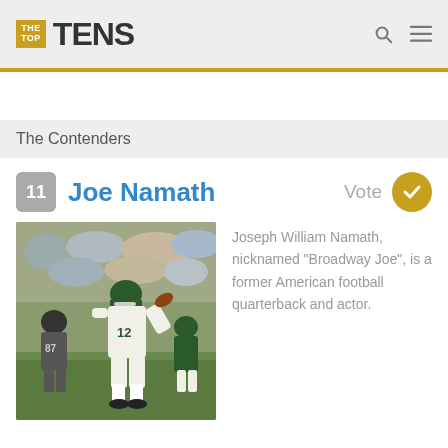THE TOP TENS
The Contenders
11 Joe Namath   Vote
[Figure (photo): Joe Namath in a New York Jets #12 jersey throwing a football, surrounded by players and crowd]
Joseph William Namath, nicknamed "Broadway Joe", is a former American football quarterback and actor.